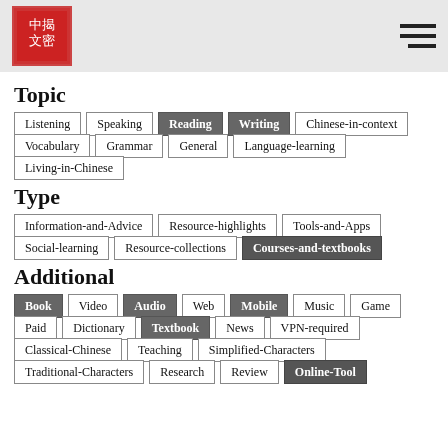中揭文密 [logo] [hamburger menu]
Topic
Listening
Speaking
Reading (active)
Writing (active)
Chinese-in-context
Vocabulary
Grammar
General
Language-learning
Living-in-Chinese
Type
Information-and-Advice
Resource-highlights
Tools-and-Apps
Social-learning
Resource-collections
Courses-and-textbooks (active)
Additional
Book (active)
Video
Audio (active)
Web
Mobile (active)
Music
Game
Paid
Dictionary
Textbook (active)
News
VPN-required
Classical-Chinese
Teaching
Simplified-Characters
Traditional-Characters
Research
Review
Online-Tool (active)